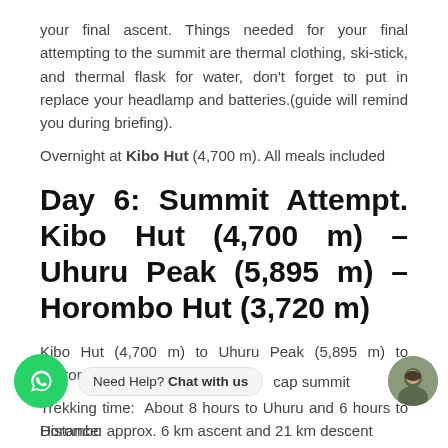your final ascent. Things needed for your final attempting to the summit are thermal clothing, ski-stick, and thermal flask for water, don't forget to put in replace your headlamp and batteries.(guide will remind you during briefing).
Overnight at Kibo Hut (4,700 m). All meals included
Day 6: Summit Attempt. Kibo Hut (4,700 m) – Uhuru Peak (5,895 m) – Horombo Hut (3,720 m)
Kibo Hut (4,700 m) to Uhuru Peak (5,895 m) to Horombo Hut (3,720 m)
Trekking time: About 8 hours to Uhuru and 6 hours to Horombo
cap summit
Distance: approx. 6 km ascent and 21 km descent